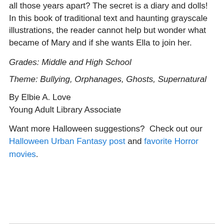all those years apart? The secret is a diary and dolls! In this book of traditional text and haunting grayscale illustrations, the reader cannot help but wonder what became of Mary and if she wants Ella to join her.
Grades: Middle and High School
Theme: Bullying, Orphanages, Ghosts, Supernatural
By Elbie A. Love
Young Adult Library Associate
Want more Halloween suggestions?  Check out our Halloween Urban Fantasy post and favorite Horror movies.